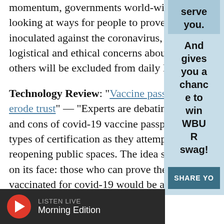momentum, governments world-wide are looking at ways for people to prove they've been inoculated against the coronavirus, raising logistical and ethical concerns about whether others will be excluded from daily life
Technology Review: "Vaccine passports erode trust" — "Experts are debating pros and cons of covid-19 vaccine passports and types of certification as they attempt to reopen reopening public spaces. The idea seems simple on its face: those who can prove they've been vaccinated for covid-19 would be able to go places and do things that unvaccina...
[Figure (other): Right sidebar advertisement with light blue background, containing text 'serve you. And gives you a chance to win WBUR swag!' and a teal 'SHARE YO...' button]
[Figure (other): Bottom media player bar with dark background, red circular play button, 'LISTEN LIVE' label and 'Morning Edition' text]